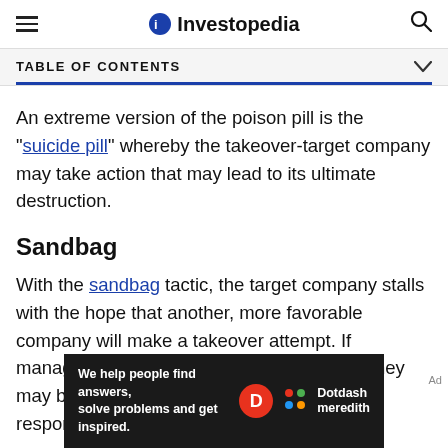Investopedia
TABLE OF CONTENTS
An extreme version of the poison pill is the "suicide pill" whereby the takeover-target company may take action that may lead to its ultimate destruction.
Sandbag
With the sandbag tactic, the target company stalls with the hope that another, more favorable company will make a takeover attempt. If management sandbags too long, however, they may be getting distracted from their responsibilities of the company.
[Figure (other): Dotdash Meredith advertisement banner: 'We help people find answers, solve problems and get inspired.']